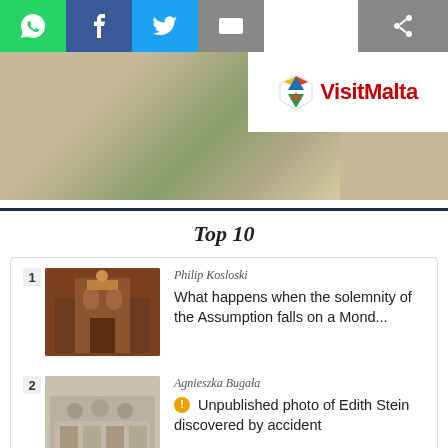[Figure (screenshot): Social sharing bar with WhatsApp, Facebook, Twitter, Email and Share buttons]
[Figure (photo): VisitMalta banner image with stone pathway and VisitMalta logo]
Top 10
1 Philip Kosloski — What happens when the solemnity of the Assumption falls on a Mond...
2 Agnieszka Bugała — Unpublished photo of Edith Stein discovered by accident